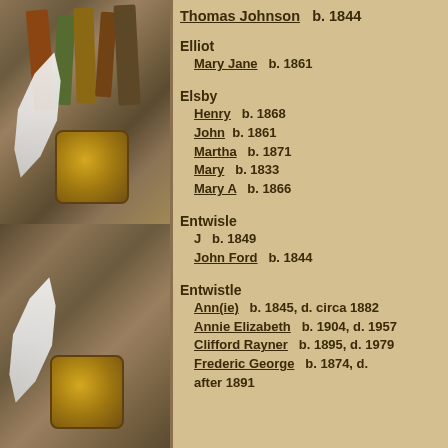[Figure (illustration): Decorative illustration of old books and quill pen with inkwell, repeated twice vertically on left panel]
Thomas Johnson b. 1844
Elliot
  Mary Jane b. 1861
Elsby
  Henry b. 1868
  John b. 1861
  Martha b. 1871
  Mary b. 1833
  Mary A b. 1866
Entwisle
  J b. 1849
  John Ford b. 1844
Entwistle
  Ann(ie) b. 1845, d. circa 1882
  Annie Elizabeth b. 1904, d. 1957
  Clifford Rayner b. 1895, d. 1979
  Frederic George b. 1874, d. after 1891